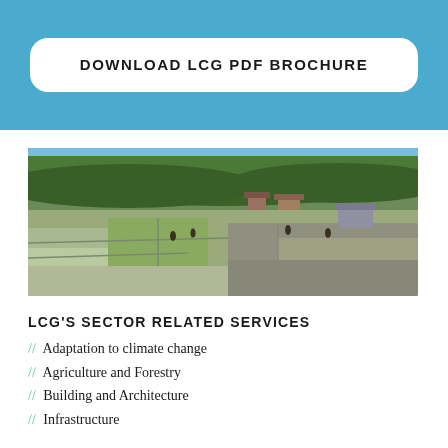DOWNLOAD LCG PDF BROCHURE
[Figure (photo): Aerial view of flooded rice paddies with farmers working, green forested hills in background, and small village structures visible]
LCG'S SECTOR RELATED SERVICES
// Adaptation to climate change
// Agriculture and Forestry
// Building and Architecture
// Infrastructure